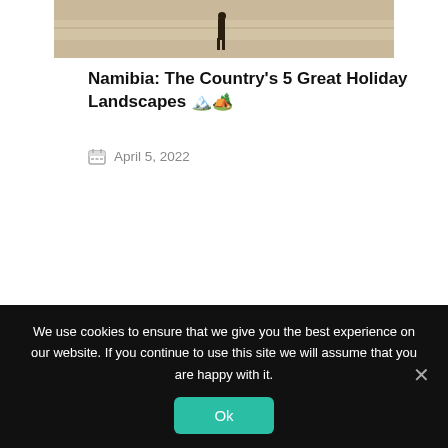[Figure (photo): Partial photo of a desert/beach landscape with a distant figure standing, warm sandy tones, cropped at top]
Namibia: The Country's 5 Great Holiday Landscapes 🏔️
📅 April 5, 2022
We use cookies to ensure that we give you the best experience on our website. If you continue to use this site we will assume that you are happy with it.
Ok